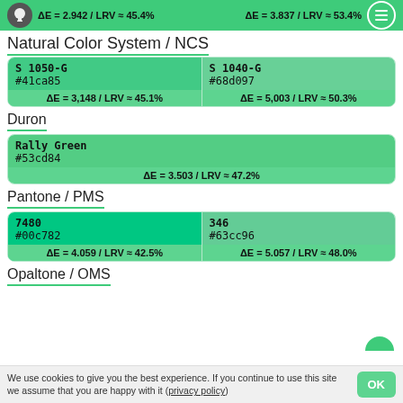ΔE = 2.942 / LRV ≈ 45.4%   ΔE = 3.837 / LRV ≈ 53.4%
Natural Color System / NCS
| Color | Delta |
| --- | --- |
| S 1050-G
#41ca85 | ΔE = 3,148 / LRV ≈ 45.1% |
| S 1040-G
#68d097 | ΔE = 5,003 / LRV ≈ 50.3% |
Duron
| Color | Delta |
| --- | --- |
| Rally Green
#53cd84 | ΔE = 3.503 / LRV ≈ 47.2% |
Pantone / PMS
| Color | Delta |
| --- | --- |
| 7480
#00c782 | ΔE = 4.059 / LRV ≈ 42.5% |
| 346
#63cc96 | ΔE = 5.057 / LRV ≈ 48.0% |
Opaltone / OMS
We use cookies to give you the best experience. If you continue to use this site we assume that you are happy with it (privacy policy)